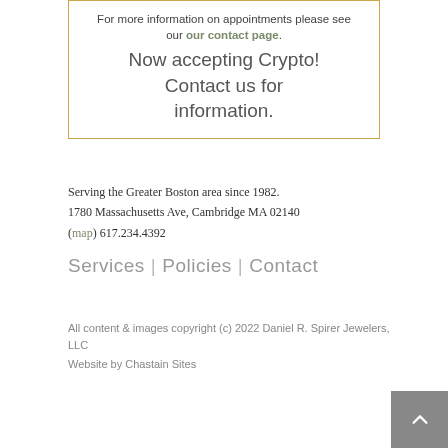For more information on appointments please see our our contact page. Now accepting Crypto! Contact us for information.
Serving the Greater Boston area since 1982.
1780 Massachusetts Ave, Cambridge MA 02140
(map) 617.234.4392
Services | Policies | Contact
All content & images copyright (c) 2022 Daniel R. Spirer Jewelers, LLC
Website by Chastain Sites